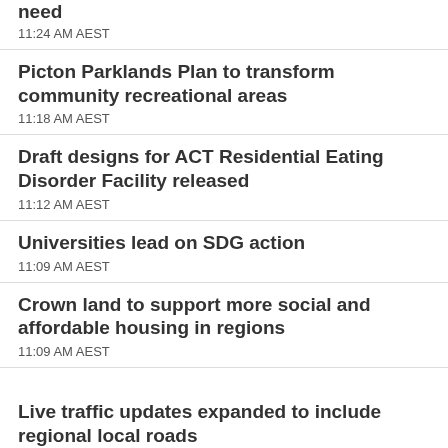need
11:24 AM AEST
Picton Parklands Plan to transform community recreational areas
11:18 AM AEST
Draft designs for ACT Residential Eating Disorder Facility released
11:12 AM AEST
Universities lead on SDG action
11:09 AM AEST
Crown land to support more social and affordable housing in regions
11:09 AM AEST
Live traffic updates expanded to include regional local roads
11:06 AM AEST